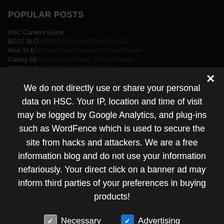POPULAR POSTS
HSC Camera Guide
BEST SLO...
How To E...
Galaxy S8...
BEST SLO...
Five Best Slo-mo Camera of 2015!
Sony a6300 delivers 4K Ultra HD and Slow Motion!
iPhone 7 Slow Motion Remains The Same!
BEST SLOW MO...
URSA 150fps and Mini 120fps 1080p!
FEATURED POST:
adddFONTS SC2A
Features With
NEW FORMAT
LXNYOS 1080p
We do not directly use or share your personal data on HSC. Your IP, location and time of visit may be logged by Google Analytics, and plug-ins such as WordFence which is used to secure the site from hacks and attackers. We are a free information blog and do not use your information nefariously. Your direct click on a banner ad may inform third parties of your preferences in buying products!
Necessary
Advertising
Analytics
Other
Privacy Preferences
I Agree